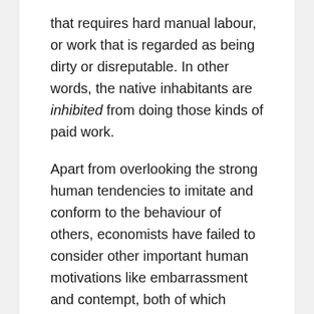that requires hard manual labour, or work that is regarded as being dirty or disreputable. In other words, the native inhabitants are inhibited from doing those kinds of paid work.
Apart from overlooking the strong human tendencies to imitate and conform to the behaviour of others, economists have failed to consider other important human motivations like embarrassment and contempt, both of which prevent people from doing certain things. Either one of these motivations can prevent people from doing certain kinds of work, which means that it is not simply the level of wages that determines the kinds of work that people are willing to do. This explains why there are some